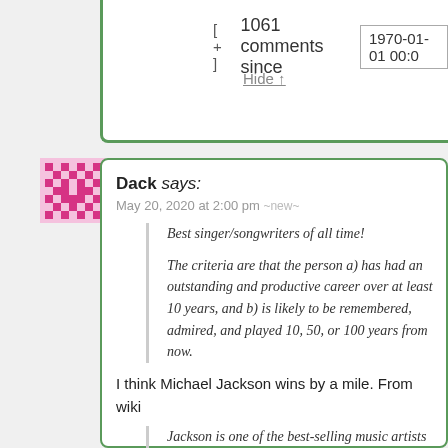[ + ] 1061 comments since 1970-01-01 00:0
Hide ↑
Dack says:
May 20, 2020 at 2:00 pm ~new~
Best singer/songwriters of all time!
The criteria are that the person a) has had an outstanding and productive career over at least 10 years, and b) is likely to be remembered, admired, and played 10, 50, or 100 years from now.
I think Michael Jackson wins by a mile. From wiki
Jackson is one of the best-selling music artists of all time, with estimated sales of over 350 million records worldwide.[nb 1